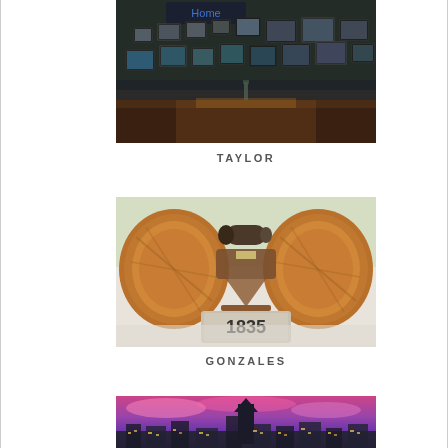[Figure (photo): Interior of a bar or restaurant with dark walls covered in framed pictures, a bar counter visible in the lower portion with warm lighting.]
TAYLOR
[Figure (photo): A historic cannon mounted on a wooden carriage with large wooden wheels, sitting on a stone pedestal inscribed with '1835', displayed against a light background with greenery visible behind.]
GONZALES
[Figure (photo): Aerial nighttime cityscape showing a church or courthouse spire illuminated against a dramatic pink and purple sunset sky, with city lights visible below.]